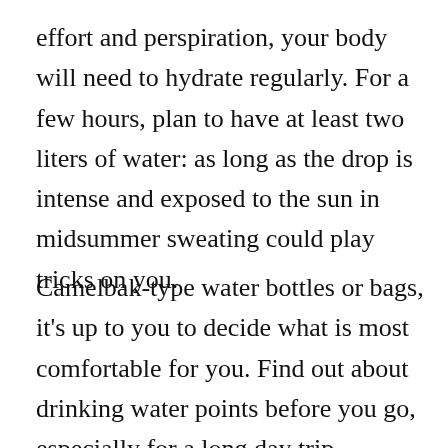effort and perspiration, your body will need to hydrate regularly. For a few hours, plan to have at least two liters of water: as long as the drop is intense and exposed to the sun in midsummer sweating could play tricks on you.
Camelbak-type water bottles or bags, it's up to you to decide what is most comfortable for you. Find out about drinking water points before you go, especially for a long day trip.